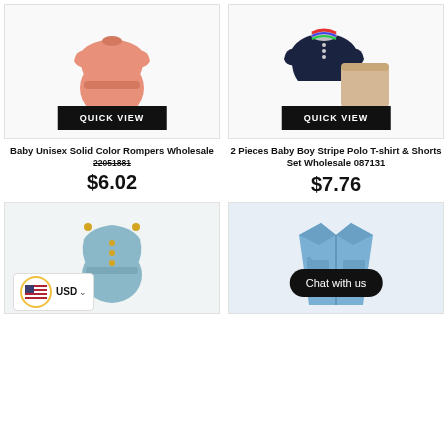[Figure (photo): Pink baby unisex solid color romper on white background with Quick View button]
[Figure (photo): 2-piece baby boy navy stripe polo t-shirt and khaki shorts set on white background with Quick View button]
Baby Unisex Solid Color Rompers Wholesale 22051881
$6.02
2 Pieces Baby Boy Stripe Polo T-shirt & Shorts Set Wholesale 087131
$7.76
[Figure (photo): Light blue baby romper with gold button details]
[Figure (photo): Light blue denim jacket for baby/toddler with Chat with us overlay bubble]